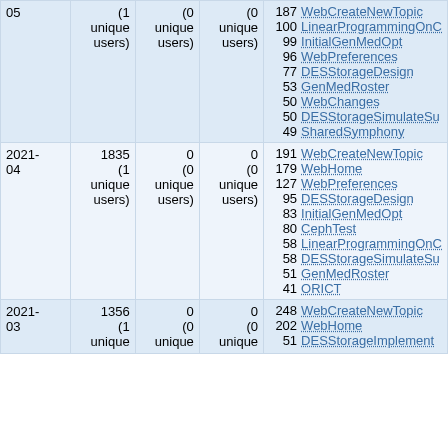| Date | Views | Edits | Contributors | Top Pages |
| --- | --- | --- | --- | --- |
|  | (1 unique users) | (0 unique users) | (0 unique users) | 187 WebCreateNewTopic
100 LinearProgrammingOnC
99 InitialGenMedOpt
96 WebPreferences
77 DESStorageDesign
53 GenMedRoster
50 WebChanges
50 DESStorageSimulateSu
49 SharedSymphony |
| 2021-04 | 1835
(1 unique users) | 0
(0 unique users) | 0
(0 unique users) | 191 WebCreateNewTopic
179 WebHome
127 WebPreferences
95 DESStorageDesign
83 InitialGenMedOpt
80 CephTest
58 LinearProgrammingOnC
58 DESStorageSimulateSu
51 GenMedRoster
41 ORICT |
| 2021-03 | 1356
(1 unique users) | 0
(0 unique users) | 0
(0 unique users) | 248 WebCreateNewTopic
202 WebHome
51 DESStorageImplement |